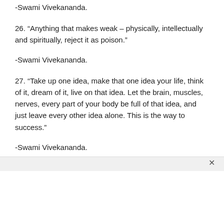-Swami Vivekananda.
26. “Anything that makes weak – physically, intellectually and spiritually, reject it as poison.”
-Swami Vivekananda.
27. “Take up one idea, make that one idea your life, think of it, dream of it, live on that idea. Let the brain, muscles, nerves, every part of your body be full of that idea, and just leave every other idea alone. This is the way to success.”
-Swami Vivekananda.